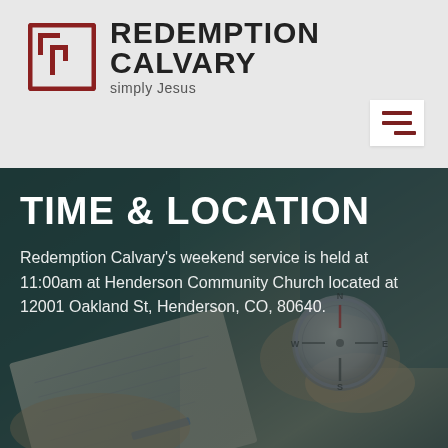[Figure (logo): Redemption Calvary church logo with square icon containing stylized 'r' and text 'REDEMPTION CALVARY simply Jesus']
[Figure (infographic): Hamburger menu icon (three horizontal lines) in white box, dark red color]
[Figure (photo): Background photo of hands holding a compass and map/paper, dark teal overlay, used as hero section background]
TIME & LOCATION
Redemption Calvary's weekend service is held at 11:00am at Henderson Community Church located at 12001 Oakland St, Henderson, CO, 80640.